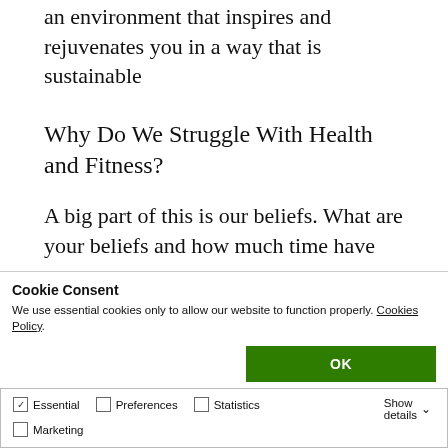an environment that inspires and rejuvenates you in a way that is sustainable
Why Do We Struggle With Health and Fitness?
A big part of this is our beliefs. What are your beliefs and how much time have you spent
Cookie Consent
We use essential cookies only to allow our website to function properly. Cookies Policy.
OK
Essential  Preferences  Statistics  Marketing  Show details